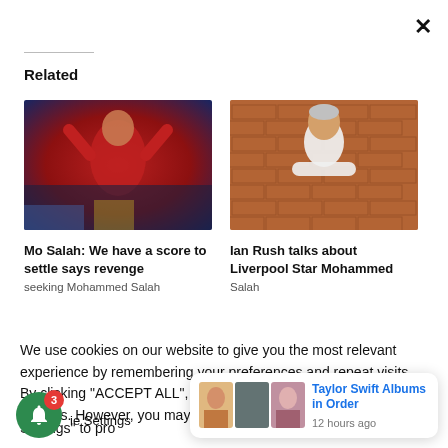×
Related
[Figure (photo): Mo Salah celebrating in red Liverpool jersey with arms raised]
[Figure (photo): Ian Rush in white polo shirt standing against brick wall with arms crossed]
Mo Salah: We have a score to settle says revenge
Ian Rush talks about Liverpool Star Mohammed
We use cookies on our website to give you the most relevant experience by remembering your preferences and repeat visits. By clicking "ACCEPT ALL", you consent to the use of ALL the cookies. However, you may visit "Cookie Settings" to pro
[Figure (photo): Taylor Swift notification banner with album photos]
Taylor Swift Albums in Order
12 hours ago